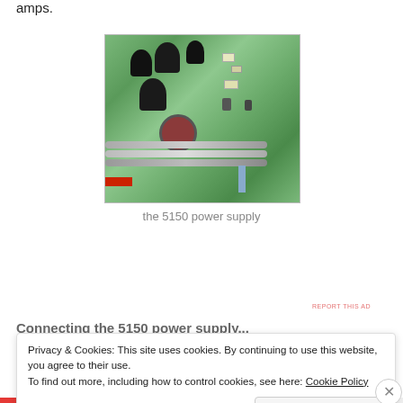amps.
[Figure (photo): Close-up photograph of the 5150 power supply PCB showing large electrolytic capacitors, a round red component, wiring harness, and various electronic components on a green circuit board.]
the 5150 power supply
[Figure (other): DAY ONE app advertisement banner — 'The only journaling app you'll ever need.' on a blue background with icons.]
REPORT THIS AD
Connecting the 5150 power supply...
Privacy & Cookies: This site uses cookies. By continuing to use this website, you agree to their use.
To find out more, including how to control cookies, see here: Cookie Policy
Close and accept